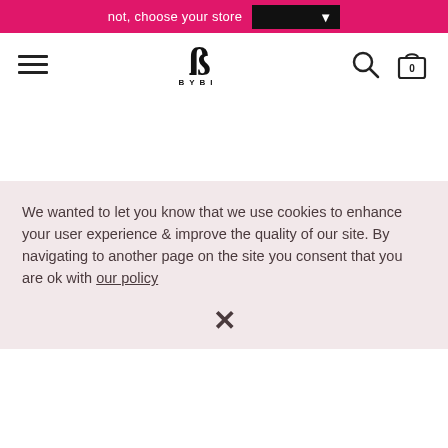not, choose your store [dropdown]
[Figure (logo): BYBI logo with stylized B and text BYBI below]
We wanted to let you know that we use cookies to enhance your user experience & improve the quality of our site. By navigating to another page on the site you consent that you are ok with our policy
×